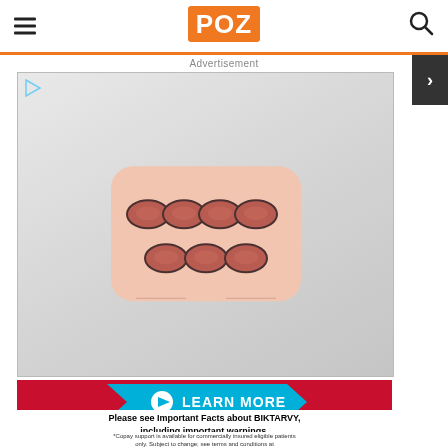POZ
Advertisement
[Figure (photo): Blister pack of red oval pills (medication tablet pack) shown on a light gray gradient background inside an advertisement box. Small play/video icon in the top-left corner of the ad.]
[Figure (infographic): Red banner with cyan/teal chevron arrow shape containing 'LEARN MORE' text with a play icon circle, followed by bold text 'Please see Important Facts about BIKTARVY, including important warnings.' and small disclaimer text below.]
Please see Important Facts about BIKTARVY, including important warnings.
*Copay support is available for commercially insured eligible patients only. Subject to change; see terms and conditions at GileadAdvancingAccess.com. Restrictions apply. © 2021 Gilead Sciences, Inc. All rights reserved. BVYC0485 08/21